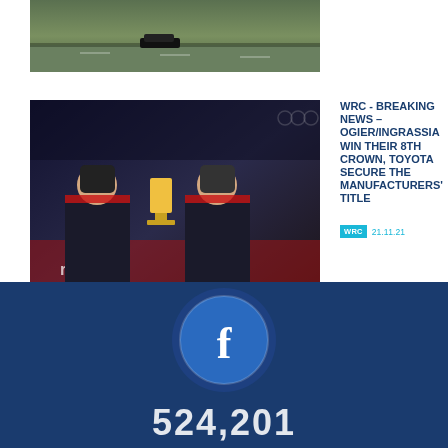[Figure (photo): Aerial view of a rally car on a wet race track with forest surroundings]
[Figure (photo): Two rally drivers celebrating on the podium holding trophies, wearing dark racing suits with team logos]
WRC - BREAKING NEWS – OGIER/INGRASSIA WIN THEIR 8TH CROWN, TOYOTA SECURE THE MANUFACTURERS' TITLE
WRC   21.11.21
SEE ALL
[Figure (logo): Facebook logo circle icon]
524,201